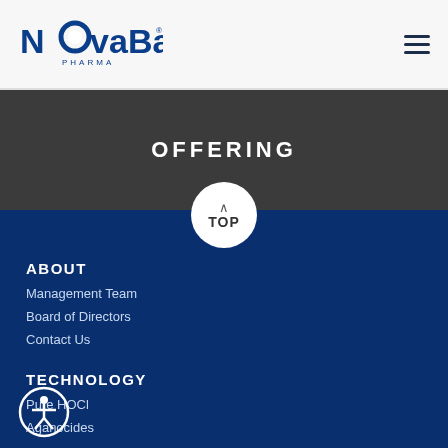[Figure (logo): NovaBay Pharma logo — blue text with stylized 'O' in Nova]
OFFERING
[Figure (other): TOP button — circular white button with upward caret and text TOP]
ABOUT
Management Team
Board of Directors
Contact Us
TECHNOLOGY
Pure HOCl
Aganocides
PRODUCTS
[Figure (other): Accessibility icon — circle with stick figure person]